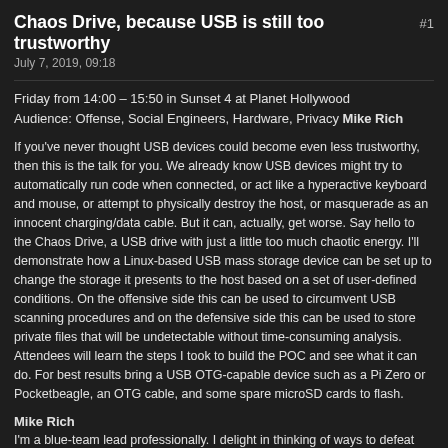Chaos Drive, because USB is still too trustworthy #1
July 7, 2019, 09:18
Friday from 14:00 – 15:50 in Sunset 4 at Planet Hollywood
Audience: Offense, Social Engineers, Hardware, Privacy Mike Rich
If you've never thought USB devices could become even less trustworthy, then this is the talk for you. We already know USB devices might try to automatically run code when connected, or act like a hyperactive keyboard and mouse, or attempt to physically destroy the host, or masquerade as an innocent charging/data cable. But it can, actually, get worse. Say hello to the Chaos Drive, a USB drive with just a little too much chaotic energy. I'll demonstrate how a Linux-based USB mass storage device can be set up to change the storage it presents to the host based on a set of user-defined conditions. On the offensive side this can be used to circumvent USB scanning procedures and on the defensive side this can be used to store private files that will be undetectable without time-consuming analysis. Attendees will learn the steps I took to build the POC and see what it can do. For best results bring a USB OTG-capable device such as a Pi Zero or Pocketbeagle, an OTG cable, and some spare microSD cards to flash.
Mike Rich
I'm a blue-team lead professionally. I delight in thinking of ways to defeat my own processes and then admitting these flaws publicly. I spoke at DEF CON 24 about using copiers to load code on closed networks, at the Lockpick Village at DEF CON 26 about exploiting human laziness on multi-dial combination locks, and at BSidesLV